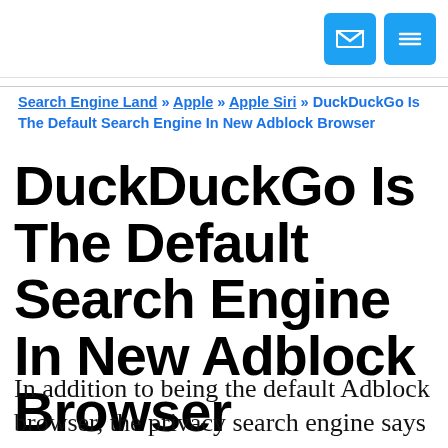[envelope icon] [menu icon]
Search Engine Land » Apple » Apple Siri » DuckDuckGo Is The Default Search Engine In New Adblock Browser
DuckDuckGo Is The Default Search Engine In New Adblock Browser
In addition to being the default Adblock browser, the privacy search engine says it will sign the "Acceptable Ads Manifesto."